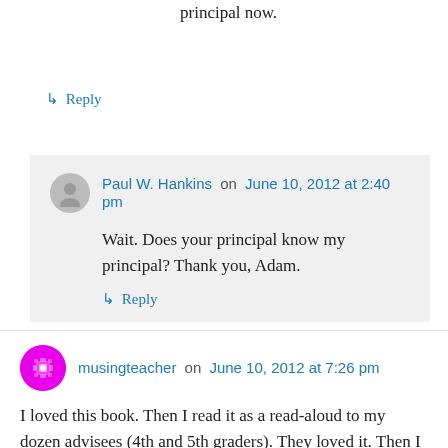principal now.
↳ Reply
Paul W. Hankins on June 10, 2012 at 2:40 pm
Wait. Does your principal know my principal? Thank you, Adam.
↳ Reply
musingteacher on June 10, 2012 at 7:26 pm
I loved this book. Then I read it as a read-aloud to my dozen advisees (4th and 5th graders). They loved it. Then I said to my team, “This book should be our common reading over the